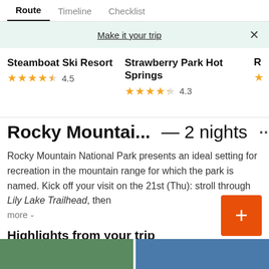Route | Timeline | Checklist
Make it your trip
Steamboat Ski Resort 4.5
Strawberry Park Hot Springs 4.3
Rocky Mountai... — 2 nights ...
Rocky Mountain National Park presents an ideal setting for recreation in the mountain range for which the park is named. Kick off your visit on the 21st (Thu): stroll through Lily Lake Trailhead, then
more
Highlights from your trip